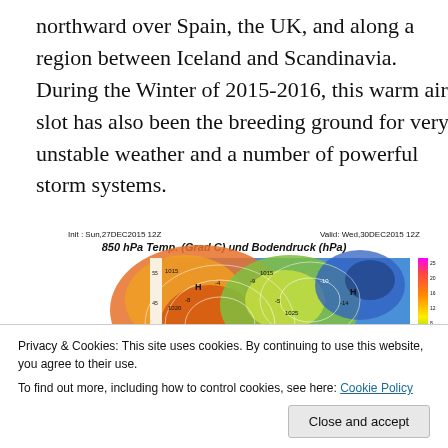northward over Spain, the UK, and along a region between Iceland and Scandinavia. During the Winter of 2015-2016, this warm air slot has also been the breeding ground for very unstable weather and a number of powerful storm systems.
[Figure (map): 850 hPa Temperature (Grad C) and Bodendruck (hPa) weather map. Init: Sun,27DEC2015 12Z, Valid: Wed,30DEC2015 12Z. Shows a color-coded meteorological map of Europe and Atlantic with pressure isobars, temperature fields, and H/T markers.]
Privacy & Cookies: This site uses cookies. By continuing to use this website, you agree to their use.
To find out more, including how to control cookies, see here: Cookie Policy